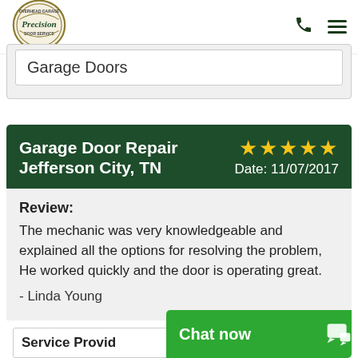[Figure (logo): Precision Overhead Garage Door Service logo - circular badge with green and gold colors, 'a Neighborly company' tagline below]
Garage Doors
Garage Door Repair Jefferson City, TN ★★★★★ Date: 11/07/2017
Review:
The mechanic was very knowledgeable and explained all the options for resolving the problem, He worked quickly and the door is operating great.
- Linda Young
Service Provid...